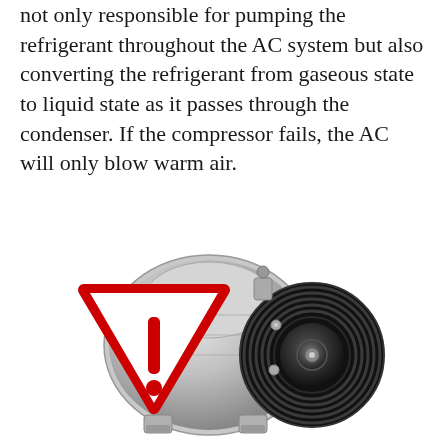not only responsible for pumping the refrigerant throughout the AC system but also converting the refrigerant from gaseous state to liquid state as it passes through the condenser. If the compressor fails, the AC will only blow warm air.
[Figure (photo): An AC compressor unit (silver/chrome body with black pulley wheel) with a red warning triangle (caution/exclamation mark sign) overlaid on the left side of the compressor.]